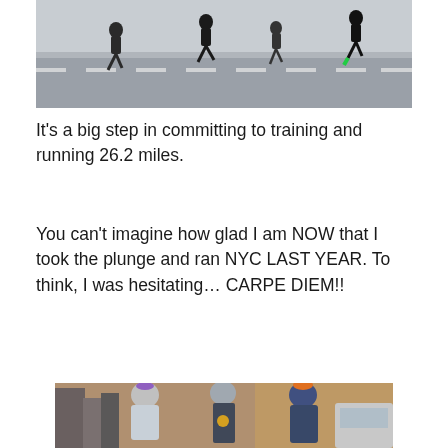[Figure (photo): Runners on a road during a marathon race, shot from the side showing multiple athletes running on a wide road with lane markings.]
It's a big step in committing to training and running 26.2 miles.
You can't imagine how glad I am NOW that I took the plunge and ran NYC LAST YEAR. To think, I was hesitating… CARPE DIEM!!
[Figure (photo): Three women standing together outdoors in New York City, wearing winter hats and medals after completing a marathon. The woman on the left wears a purple pom-pom hat and sunglasses, the center woman wears a blue headband and large gold medal, and the woman on the right wears an orange beanie and glasses.]